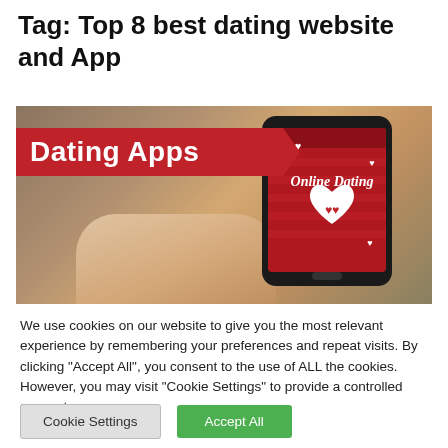Tag: Top 8 best dating website and App
[Figure (photo): A hand holding a smartphone showing a red dating app screen with 'Dating Apps' red banner overlay, 'Online Dating' text and heart with couple icon on screen]
We use cookies on our website to give you the most relevant experience by remembering your preferences and repeat visits. By clicking "Accept All", you consent to the use of ALL the cookies. However, you may visit "Cookie Settings" to provide a controlled consent.
Cookie Settings  Accept All